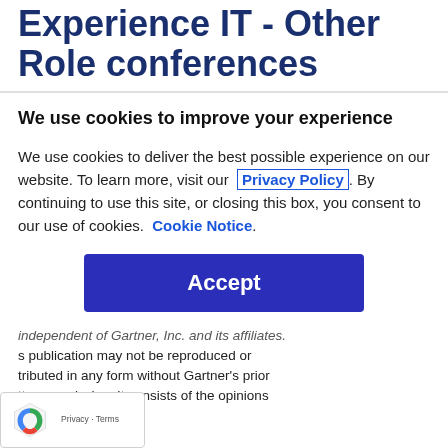Experience IT - Other Role conferences
We use cookies to improve your experience
We use cookies to deliver the best possible experience on our website. To learn more, visit our Privacy Policy. By continuing to use this site, or closing this box, you consent to our use of cookies. Cookie Notice.
Accept
independent of Gartner, Inc. and its affiliates. s publication may not be reproduced or tributed in any form without Gartner's prior tten permission. It consists of the opinions